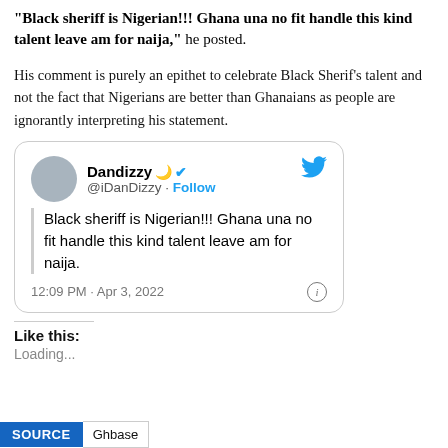"Black sheriff is Nigerian!!! Ghana una no fit handle this kind talent leave am for naija," he posted.
His comment is purely an epithet to celebrate Black Sherif's talent and not the fact that Nigerians are better than Ghanaians as people are ignorantly interpreting his statement.
[Figure (screenshot): Tweet by Dandizzy (@iDanDizzy) with verified badge, posted at 12:09 PM · Apr 3, 2022, saying: Black sheriff is Nigerian!!! Ghana una no fit handle this kind talent leave am for naija.]
Like this:
Loading...
SOURCE   Ghbase